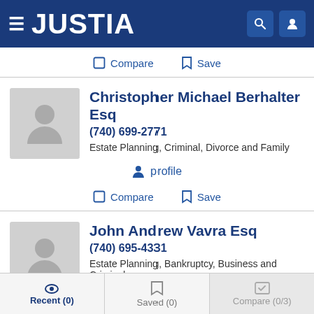JUSTIA
Compare  Save
Christopher Michael Berhalter Esq
(740) 699-2771
Estate Planning, Criminal, Divorce and Family
profile
Compare  Save
John Andrew Vavra Esq
(740) 695-4331
Estate Planning, Bankruptcy, Business and Criminal
profile
Recent (0)  Saved (0)  Compare (0/3)